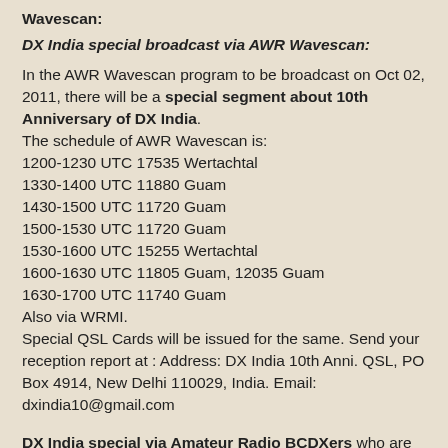Wavescan:
DX India special broadcast via AWR Wavescan:
In the AWR Wavescan program to be broadcast on Oct 02, 2011, there will be a special segment about 10th Anniversary of DX India.
The schedule of AWR Wavescan is:
1200-1230 UTC 17535 Wertachtal
1330-1400 UTC 11880 Guam
1430-1500 UTC 11720 Guam
1500-1530 UTC 11720 Guam
1530-1600 UTC 15255 Wertachtal
1600-1630 UTC 11805 Guam, 12035 Guam
1630-1700 UTC 11740 Guam
Also via WRMI.
Special QSL Cards will be issued for the same. Send your reception report at : Address: DX India 10th Anni. QSL, PO Box 4914, New Delhi 110029, India. Email: dxindia10@gmail.com
DX India special via Amateur Radio BCDXers who are